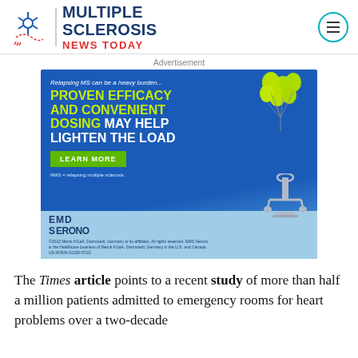[Figure (logo): Multiple Sclerosis News Today logo with stylized neuron icon, site name in navy and red, and hamburger menu button]
Advertisement
[Figure (infographic): EMD Serono advertisement for relapsing MS treatment. Text: 'Relapsing MS can be a heavy burden... PROVEN EFFICACY AND CONVENIENT DOSING MAY HELP LIGHTEN THE LOAD'. Green LEARN MORE button. Balloons and anchor imagery. Footer: EMD Serono logo, copyright notice, US-NONN-01159 07/22]
The Times article points to a recent study of more than half a million patients admitted to emergency rooms for heart problems over a two-decade